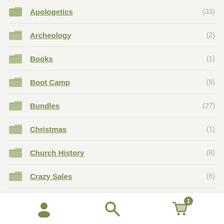Apologetics (33)
Archeology (2)
Books (1)
Boot Camp (9)
Bundles (27)
Christmas (1)
Church History (8)
Crazy Sales (6)
Discipleship (5)
User | Search | Cart (1)